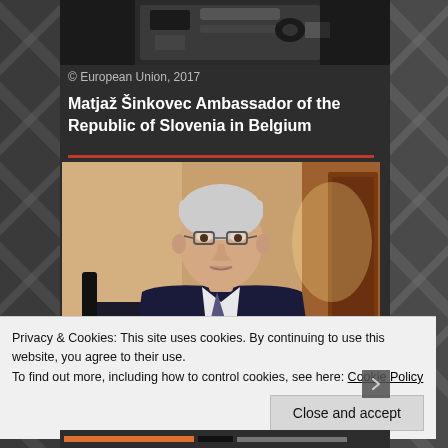[Figure (photo): Top black and white photograph showing what appears to be a musical instrument or camera equipment]
© European Union, 2017
Matjaž Šinkovec Ambassador of the Republic of Slovenia in Belgium
[Figure (photo): Portrait photograph of Matjaž Šinkovec, an older man with white/grey hair and glasses, wearing a dark suit, seated in an office or formal room setting]
Privacy & Cookies: This site uses cookies. By continuing to use this website, you agree to their use.
To find out more, including how to control cookies, see here: Cookie Policy